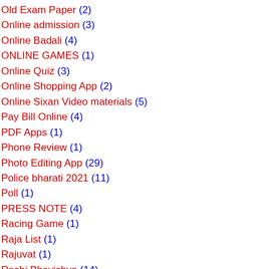Old Exam Paper (2)
Online admission (3)
Online Badali (4)
ONLINE GAMES (1)
Online Quiz (3)
Online Shopping App (2)
Online Sixan Video materials (5)
Pay Bill Online (4)
PDF Apps (1)
Phone Review (1)
Photo Editing App (29)
Police bharati 2021 (11)
Poll (1)
PRESS NOTE (4)
Racing Game (1)
Raja List (1)
Rajuvat (1)
Rashi Bhavishya (14)
Ration card (1)